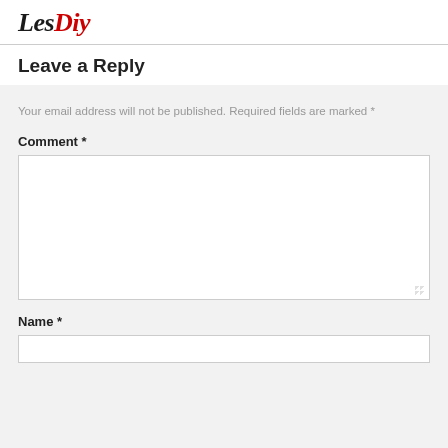LesDiy
Leave a Reply
Your email address will not be published. Required fields are marked *
Comment *
Name *